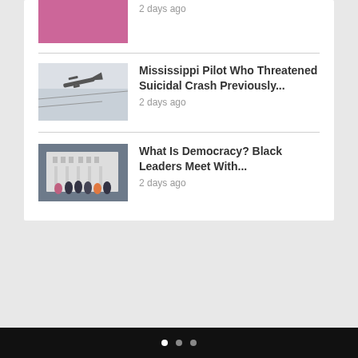[Figure (photo): Partial image of a person in pink at the top of the card]
[Figure (photo): Airplane flying in cloudy sky]
Mississippi Pilot Who Threatened Suicidal Crash Previously...
2 days ago
[Figure (photo): Group of Black leaders standing in front of a white building]
What Is Democracy? Black Leaders Meet With...
2 days ago